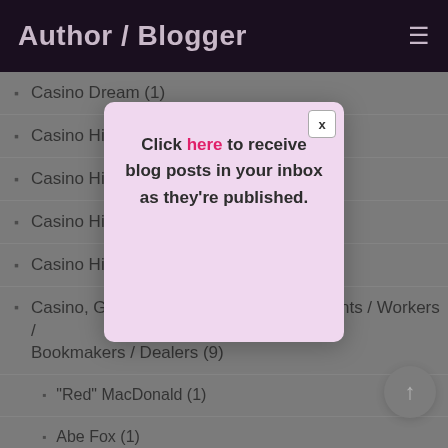Author / Blogger
Casino Dream (1)
Casino History (319)
Casino History Ca…
Casino History Ne…
Casino History U.S…
Casino, Gambling Saloon, Card Club Fronts / Workers / Bookmakers / Dealers (9)
"Red" MacDonald (1)
Abe Fox (1)
[Figure (screenshot): Modal popup with close button (x) and text: Click here to receive blog posts in your inbox as they're published.]